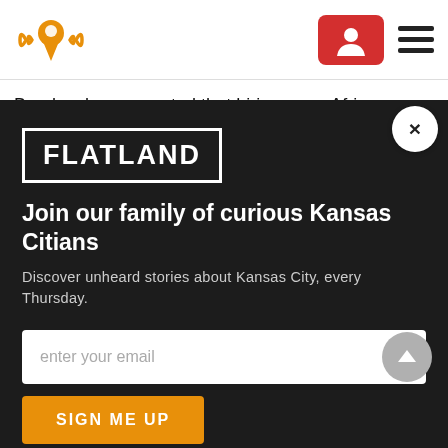[Figure (logo): Flatland/Heard website header with orange location pin logo, red user button, and hamburger menu]
Brooks also suggested that hiring more African
[Figure (logo): FLATLAND logo in white text with white border rectangle on dark background]
Join our family of curious Kansas Citians
Discover unheard stories about Kansas City, every Thursday.
enter your email
SIGN ME UP